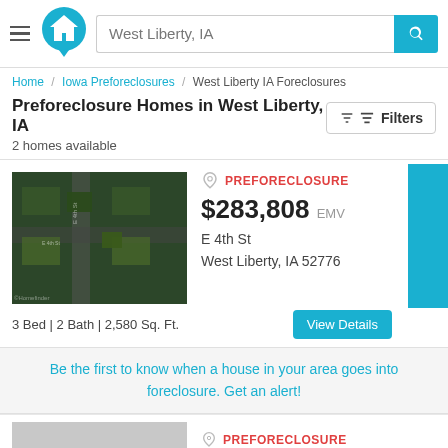West Liberty, IA
Home / Iowa Preforeclosures / West Liberty IA Foreclosures
Preforeclosure Homes in West Liberty, IA
2 homes available
[Figure (screenshot): Aerial satellite view of E 4th St area in West Liberty, IA]
PREFORECLOSURE
$283,808 EMV
E 4th St
West Liberty, IA 52776
3 Bed | 2 Bath | 2,580 Sq. Ft.
Be the first to know when a house in your area goes into foreclosure. Get an alert!
PREFORECLOSURE